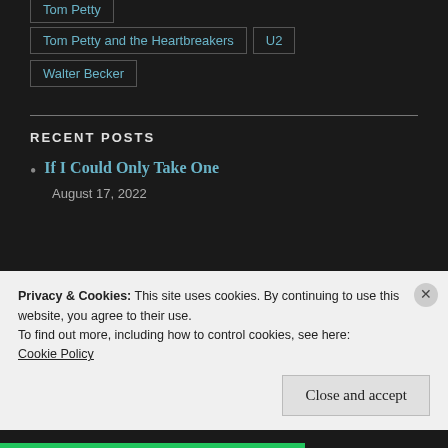Tom Petty (partially visible at top)
Tom Petty and the Heartbreakers
U2
Walter Becker
RECENT POSTS
If I Could Only Take One
August 17, 2022
Privacy & Cookies: This site uses cookies. By continuing to use this website, you agree to their use.
To find out more, including how to control cookies, see here:
Cookie Policy
Close and accept